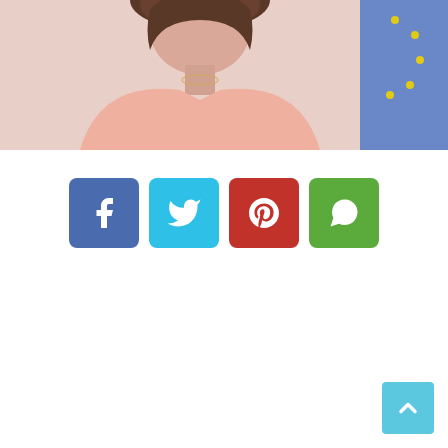[Figure (photo): Photo of a woman in a pink blazer with a European Union flag in the background]
[Figure (infographic): Social media share buttons: Facebook (blue), Twitter (light blue), Pinterest (red), WhatsApp (green)]
[Figure (other): Back to top button, light blue square with upward chevron arrow, bottom right corner]